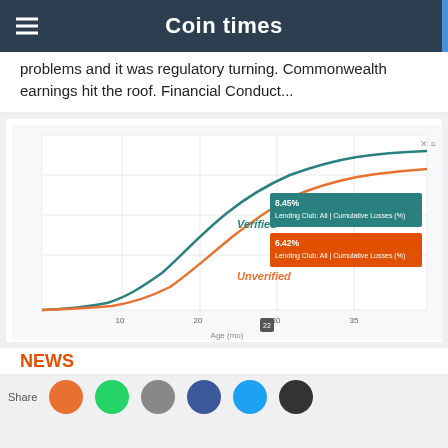Coin times
problems and it was regulatory turning. Commonwealth earnings hit the roof. Financial Conduct...
[Figure (continuous-plot): Line chart showing cumulative losses over age (months) for two groups: 'Verified' (teal/dark line, higher) and 'Unverified' (orange line, lower). Both curves start near zero and rise in an S-curve shape. Verified reaches approximately 8.45% and Unverified reaches approximately 6.42% at age 22 months. Tooltip labels show '8.45% Lending Club: All | Cumulative Losses (%)' for Verified and '6.42% Lending Club: All | Cumulative Losses (%)' for Unverified. X-axis labeled 'Age (mo)', gridlines visible.]
NEWS